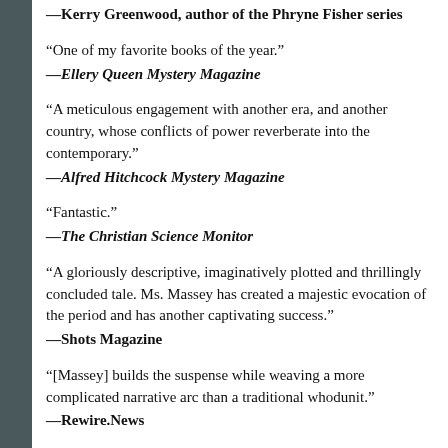—Kerry Greenwood, author of the Phryne Fisher series
“One of my favorite books of the year.”
—Ellery Queen Mystery Magazine
“A meticulous engagement with another era, and another country, whose conflicts of power reverberate into the contemporary.”
—Alfred Hitchcock Mystery Magazine
“Fantastic.”
—The Christian Science Monitor
“A gloriously descriptive, imaginatively plotted and thrillingly concluded tale. Ms. Massey has created a majestic evocation of the period and has another captivating success.”
—Shots Magazine
“[Massey] builds the suspense while weaving a more complicated narrative arc than a traditional whodunit.”
—Rewire.News